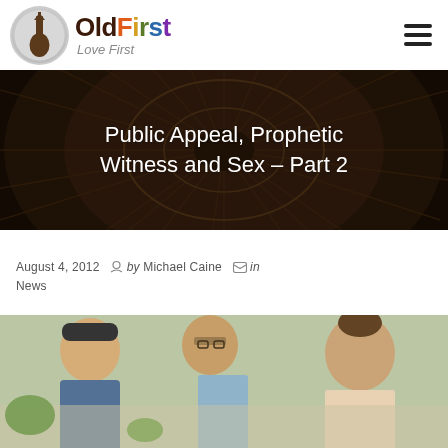[Figure (logo): OldFirst church logo with circular church icon and colorful OldFirst text with 'Love First' tagline]
[Figure (photo): Dark circular starburst/dome architectural background used as hero banner]
Public Appeal, Prophetic Witness and Sex – Part 2
August 4, 2012  by Michael Caine  in News
[Figure (photo): Photograph of several people seated at a table, including an Asian man in a black cap, a man with glasses, and a woman with her hair up]